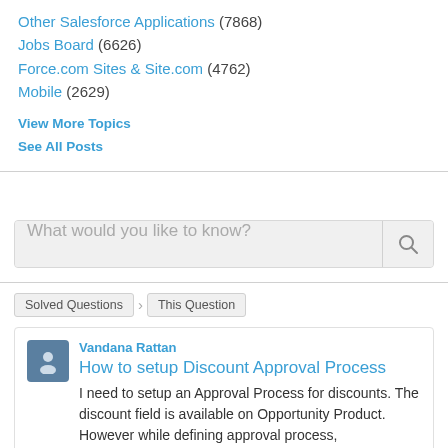Other Salesforce Applications (7868)
Jobs Board (6626)
Force.com Sites & Site.com (4762)
Mobile (2629)
View More Topics
See All Posts
[Figure (screenshot): Search input box with placeholder text 'What would you like to know?' and a search button icon]
Solved Questions > This Question
Vandana Rattan
How to setup Discount Approval Process
I need to setup an Approval Process for discounts. The discount field is available on Opportunity Product. However while defining approval process,